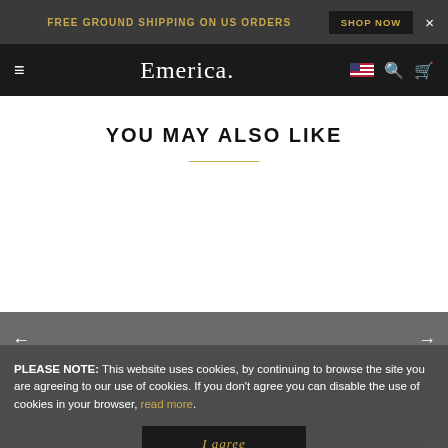FREE GROUND SHIPPING ON US ORDERS  SHOP NOW  ×
Emerica.
YOU MAY ALSO LIKE
PLEASE NOTE: This website uses cookies, by continuing to browse the site you are agreeing to our use of cookies. If you don't agree you can disable the use of cookies in your browser, read more.
I agree